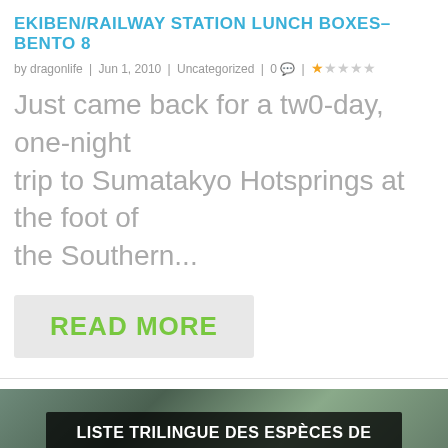EKIBEN/RAILWAY STATION LUNCH BOXES–BENTO 8
by dragonlife | Jun 1, 2010 | Uncategorized | 0 💬 | ★☆☆☆☆
Just came back for a tw0-day, one-night trip to Sumatakyo Hotsprings at the foot of the Southern...
READ MORE
[Figure (photo): Blog banner showing LISTE TRILINGUE DES ESPÈCES DE THON (EN/JP/FR) over a photo of fish/tuna with dark overlay text box]
Advertisements
[Figure (screenshot): DuckDuckGo advertisement banner: Search, browse, and email with more privacy. All in One Free App. With DuckDuckGo logo on dark background.]